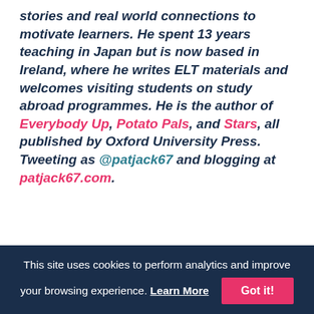stories and real world connections to motivate learners. He spent 13 years teaching in Japan but is now based in Ireland, where he writes ELT materials and welcomes visiting students on study abroad programmes. He is the author of Everybody Up, Potato Pals, and Stars, all published by Oxford University Press. Tweeting as @patjack67 and blogging at patjack67.com.
Other interviews / New China...
This site uses cookies to perform analytics and improve your browsing experience. Learn More Got it!